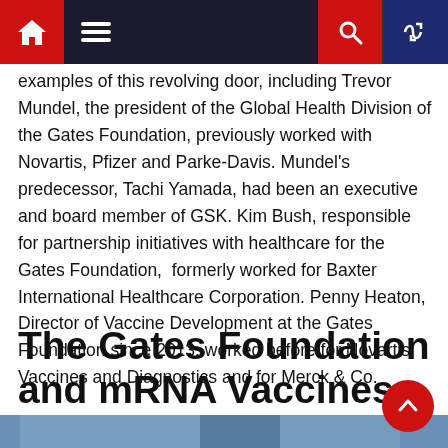Navigation bar with home, menu, search, and random icons
examples of this revolving door, including Trevor Mundel, the president of the Global Health Division of the Gates Foundation, previously worked with Novartis, Pfizer and Parke-Davis. Mundel's predecessor, Tachi Yamada, had been an executive and board member of GSK. Kim Bush, responsible for partnership initiatives with healthcare for the Gates Foundation,  formerly worked for Baxter International Healthcare Corporation. Penny Heaton, Director of Vaccine Development at the Gates Foundation since 2013, worked before for Novartis Vaccines and Diagnostics and for Merck & Co.
The Gates Foundation and mRNA Vaccines
[Figure (photo): Partial photo of a person, appears to be a man, with a blue background, cropped at bottom of page]